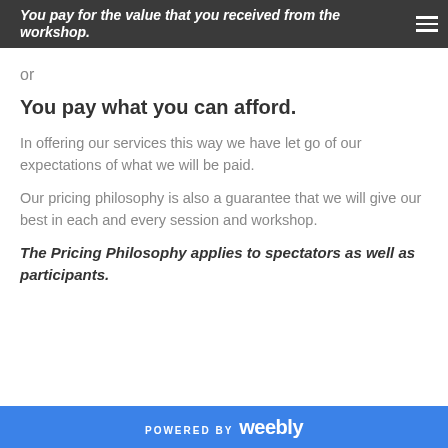You pay for the value that you received from the workshop.
or
You pay what you can afford.
In offering our services this way we have let go of our expectations of what we will be paid.
Our pricing philosophy is also a guarantee that we will give our best in each and every session and workshop.
The Pricing Philosophy applies to spectators as well as participants.
POWERED BY weebly